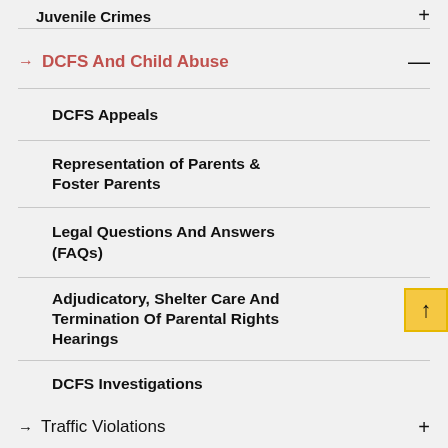Juvenile Crimes
→ DCFS And Child Abuse —
DCFS Appeals
Representation of Parents & Foster Parents
Legal Questions And Answers (FAQs)
Adjudicatory, Shelter Care And Termination Of Parental Rights Hearings
DCFS Investigations
→ Traffic Violations +